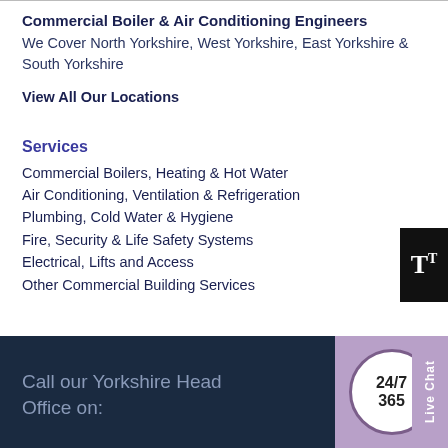Commercial Boiler & Air Conditioning Engineers
We Cover North Yorkshire, West Yorkshire, East Yorkshire & South Yorkshire
View All Our Locations
Services
Commercial Boilers, Heating & Hot Water
Air Conditioning, Ventilation & Refrigeration
Plumbing, Cold Water & Hygiene
Fire, Security & Life Safety Systems
Electrical, Lifts and Access
Other Commercial Building Services
Call our Yorkshire Head Office on:
[Figure (infographic): 24/7 365 circular badge in white with purple border on mauve background]